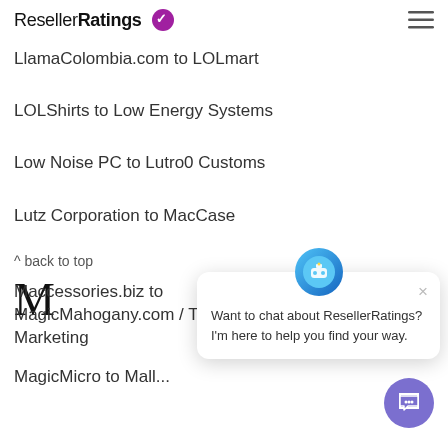ResellerRatings [verified icon] ☰
LlamaColombia.com to LOLmart
LOLShirts to Low Energy Systems
Low Noise PC to Lutro0 Customs
Lutz Corporation to MacCase
^ back to top
M
[Figure (other): Chat popup widget with robot avatar, close button (×), and text: 'Want to chat about ResellerRatings? I'm here to help you find your way.' with a purple circular chat button at bottom right.]
Maccessories.biz to MagicMahogany.com / Tahoe Marketing
MagicMicro to Mall...